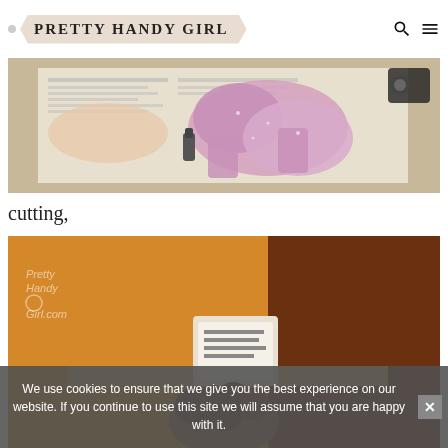Pretty Handy Girl
[Figure (photo): Person painting or decorating a pink glittery foam shape on newspaper]
cutting,
[Figure (photo): Person at a counter or desk, with Pretty Handy Girl.com watermark in top left corner]
We use cookies to ensure that we give you the best experience on our website. If you continue to use this site we will assume that you are happy with it.